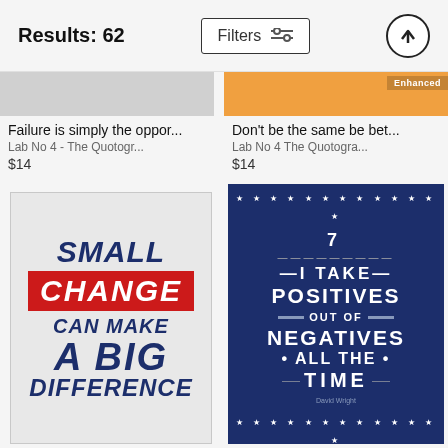Results: 62
Failure is simply the oppor...
Lab No 4 - The Quotogr...
$14
Don't be the same be bet...
Lab No 4 The Quotogra...
$14
[Figure (photo): Motivational poster: SMALL CHANGE CAN MAKE A BIG DIFFERENCE in dark blue with red box around CHANGE on grey background]
[Figure (photo): Motivational poster: 7 - I TAKE POSITIVES OUT OF NEGATIVES ALL THE TIME on navy background with red and white stripes and stars]